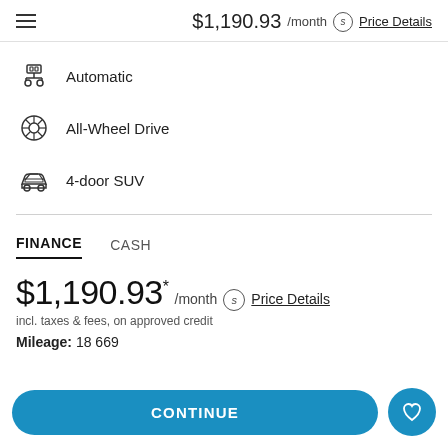$1,190.93 /month   Price Details
Automatic
All-Wheel Drive
4-door SUV
FINANCE   CASH
$1,190.93 * /month   Price Details
incl. taxes & fees, on approved credit
Mileage: 18 669
CONTINUE